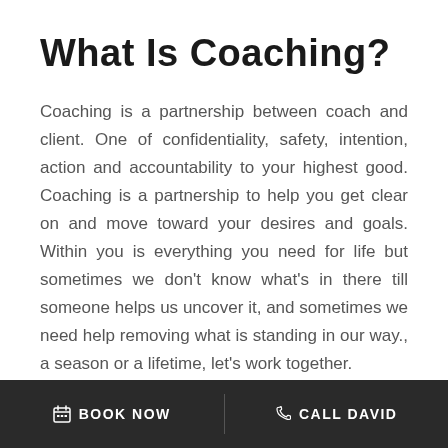What Is Coaching?
Coaching is a partnership between coach and client. One of confidentiality, safety, intention, action and accountability to your highest good. Coaching is a partnership to help you get clear on and move toward your desires and goals. Within you is everything you need for life but sometimes we don't know what's in there till someone helps us uncover it, and sometimes we need help removing what is standing in our way., a season or a lifetime, let's work together.
BOOK NOW   CALL DAVID